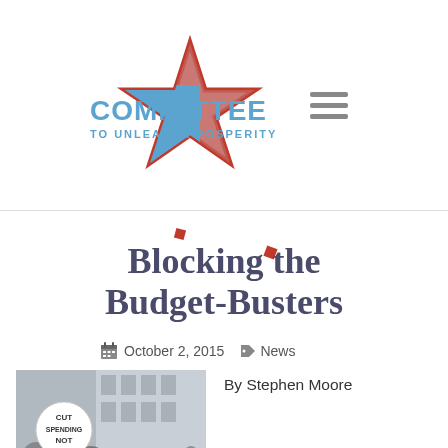[Figure (logo): Committee to Unleash Prosperity logo with blue text and red star, plus hamburger menu icon]
Blocking the Budget-Busters
October 2, 2015  News
[Figure (photo): Protest photo showing people holding a sign that reads CUT SPENDING NOT DEALS]
By Stephen Moore